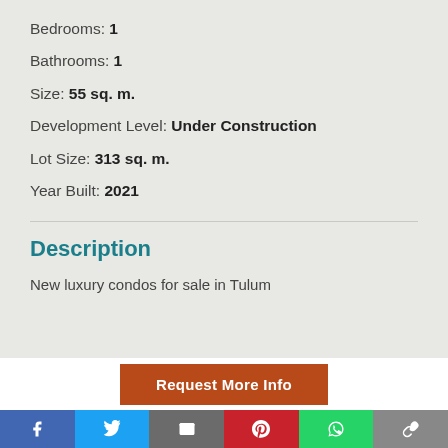Bedrooms: 1
Bathrooms: 1
Size: 55 sq. m.
Development Level: Under Construction
Lot Size: 313 sq. m.
Year Built: 2021
Description
New luxury condos for sale in Tulum